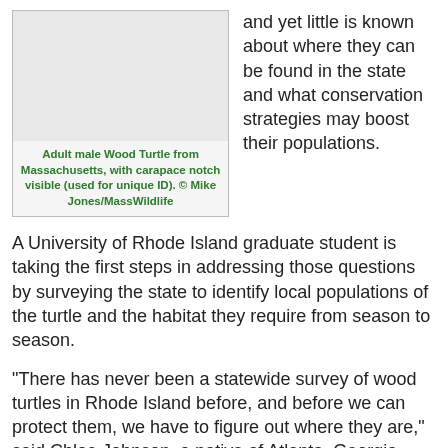[Figure (photo): Adult male Wood Turtle from Massachusetts, with carapace notch visible (used for unique ID). Photo credit: Mike Jones/MassWildlife]
Adult male Wood Turtle from Massachusetts, with carapace notch visible (used for unique ID). © Mike Jones/MassWildlife
and yet little is known about where they can be found in the state and what conservation strategies may boost their populations.
A University of Rhode Island graduate student is taking the first steps in addressing those questions by surveying the state to identify local populations of the turtle and the habitat they require from season to season.
“There has never been a statewide survey of wood turtles in Rhode Island before, and before we can protect them, we have to figure out where they are,” said Chloe Johnson, a native of Atlanta, Georgia, who is in her second year of studying the turtles as part of her master’s degree.
Wood turtles, which have been proposed for inclusion on the federal endangered species list, are found from Virginia to